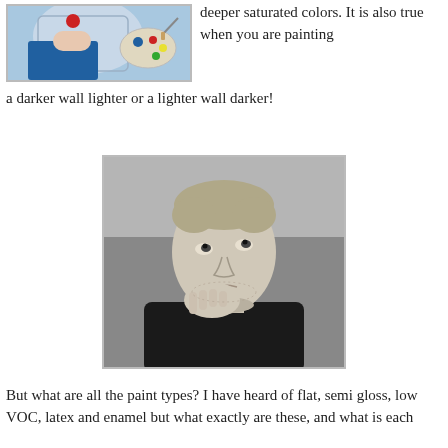[Figure (photo): Person painting, colorful image with blue tones, partial view at top of page]
deeper saturated colors. It is also true when you are painting a darker wall lighter or a lighter wall darker!
[Figure (photo): Black and white photo of a young man with short hair, hand on chin in a thinking pose, looking upward]
But what are all the paint types? I have heard of flat, semi gloss, low VOC, latex and enamel but what exactly are these, and what is each